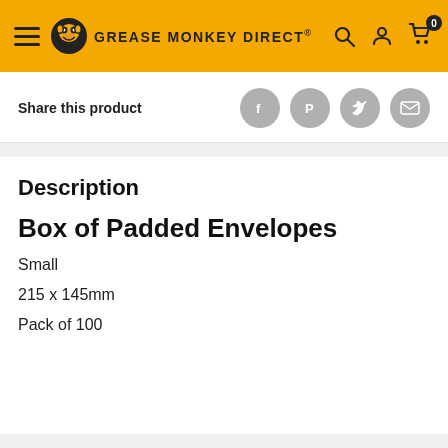GREASE MONKEY DIRECT®
Share this product
Description
Box of Padded Envelopes
Small
215 x 145mm
Pack of 100